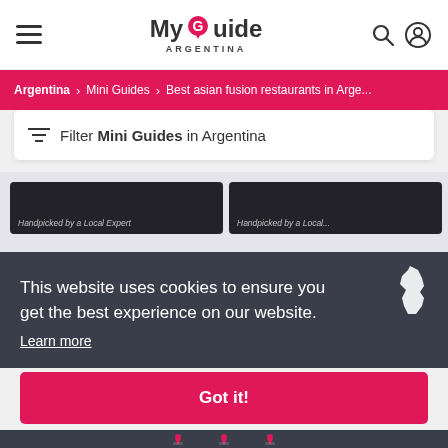MyGuide Argentina
Argentina > Mini Guides > Best asian fusion restaurants in Arge...
Filter Mini Guides in Argentina
Handpicked by a Local Expert
This website uses cookies to ensure you get the best experience on our website.
Learn more
Got it!